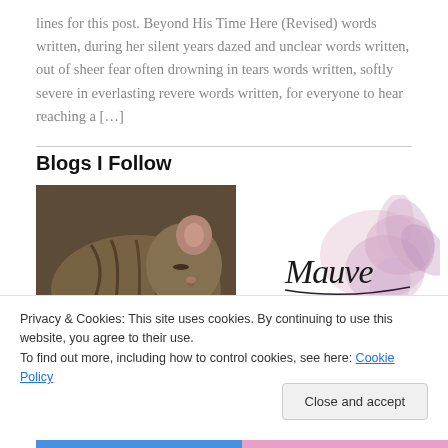lines for this post. Beyond His Time Here (Revised) words written, during her silent years dazed and unclear words written, out of sheer fear often drowning in tears words written, softly severe in everlasting revere words written, for everyone to hear reaching a […]
Blogs I Follow
[Figure (photo): A sleeping tabby cat, brown and grey striped fur, curled up on a green surface, close-up photo]
[Figure (logo): Mauve script logo with pink and purple floral watercolor background, cursive text reading 'Mauve']
Privacy & Cookies: This site uses cookies. By continuing to use this website, you agree to their use.
To find out more, including how to control cookies, see here: Cookie Policy
Close and accept